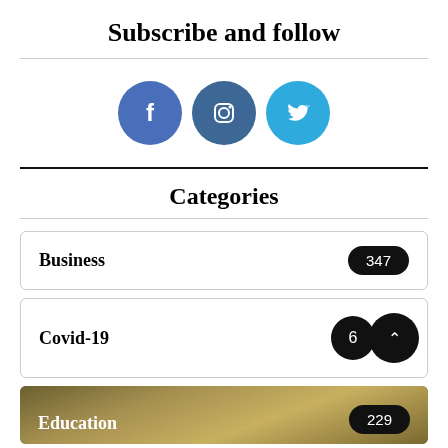Subscribe and follow
[Figure (illustration): Three social media icons in circles: Facebook (blue), Instagram (dark blue), Twitter (light blue)]
Categories
Business 347
Covid-19 6
Education 229